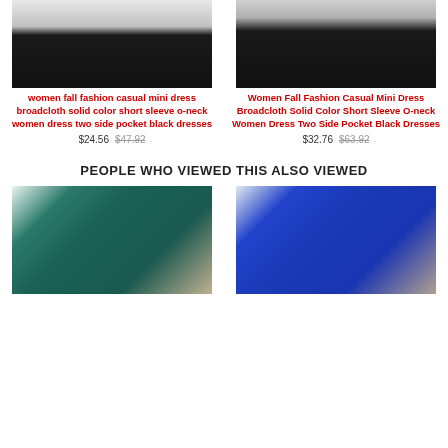[Figure (photo): Woman wearing black casual mini dress, left product photo on light yellow background]
women fall fashion casual mini dress broadcloth solid color short sleeve o-neck women dress two side pocket black dresses
$24.56 $47.92
[Figure (photo): Woman wearing black casual mini dress, right product photo on light yellow background]
Women Fall Fashion Casual Mini Dress Broadcloth Solid Color Short Sleeve O-neck Women Dress Two Side Pocket Black Dresses
$32.76 $63.92
PEOPLE WHO VIEWED THIS ALSO VIEWED
[Figure (photo): Woman wearing teal/dark green casual dress, left bottom product photo on light yellow background]
[Figure (photo): Woman wearing royal blue casual dress, right bottom product photo on light yellow background]